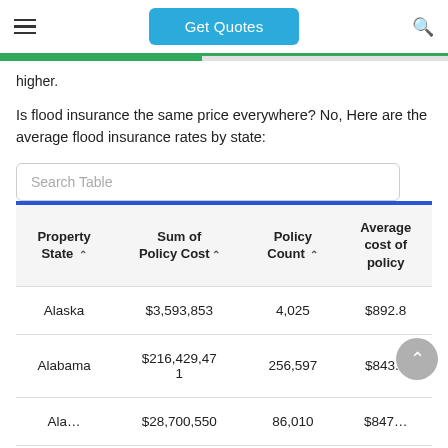Get Quotes
higher.
Is flood insurance the same price everywhere? No, Here are the average flood insurance rates by state:
| Property State | Sum of Policy Cost | Policy Count | Average cost of policy |
| --- | --- | --- | --- |
| Alaska | $3,593,853 | 4,025 | $892.8 |
| Alabama | $216,429,471 | 256,597 | $843.4 |
| Ala… | $28,700,550 | 86,010 | $847… |